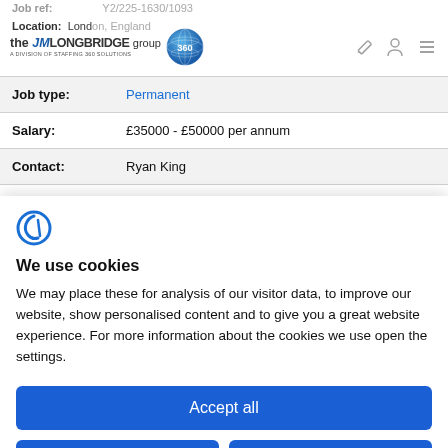Job ref: Y2/225-1630/1093
[Figure (logo): The JM Longbridge Group 360 logo - a division of Staffing 360 Solutions]
| Field | Value |
| --- | --- |
| Job type: | Permanent |
| Salary: | £35000 - £50000 per annum |
| Contact: | Ryan King |
[Figure (logo): Cookie consent icon - stylized C/F symbol in blue]
We use cookies
We may place these for analysis of our visitor data, to improve our website, show personalised content and to give you a great website experience. For more information about the cookies we use open the settings.
Accept all
Deny
No, adjust